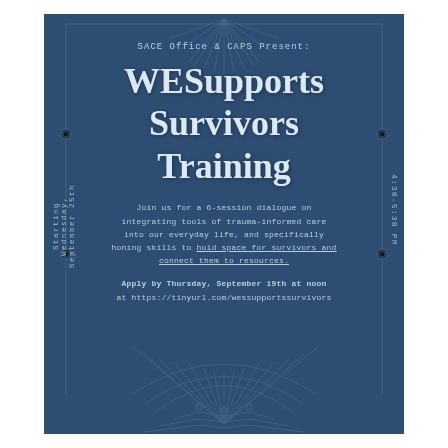[Figure (infographic): Blue decorative event flyer with geometric/sunburst ornamental background design in lighter blue lines]
SACE Office & CAPS Present:
WESupports Survivors Training
Join us for a 6-session dialogue on integrating tools of trauma-informed care into our everyday life, and specifically honing skills to hold space for survivors and connect them to resources.
Apply by Thursday, September 19th at noon at https://tinyurl.com/wessupportssurvivors
Starting Wednesday, September 25th
4:30-5:30 PM